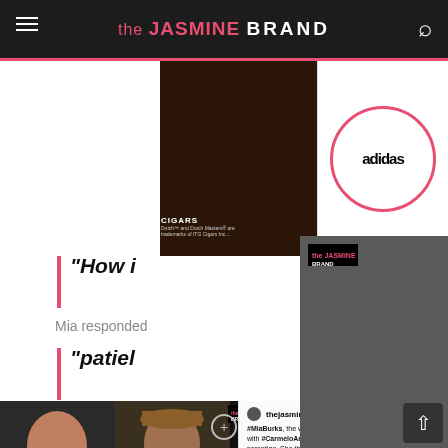the JASMINE BRAND
[Figure (screenshot): Advertisement banner for cigars with dark background and 'AT SELECT STORES' text in gold]
[Figure (screenshot): Surgeon General Warning box: 'SURGEON GENERAL WARNING: Tobacco Use Increases The Risk Of Infertility, Stillbirth, And Low...']
[Figure (screenshot): Adidas logo in pink circle on white background]
“How i
Mia responded
“patiel
[Figure (photo): Large photo of Kanye West wearing oversized black sunglasses, with The Jasmine Brand watermark and logo overlay]
[Figure (screenshot): Bottom strip showing female and male person photos with 'BRAND' watermark overlay and a video panel with 'How is it co-parenting? Any advice...' and 'patience.' text]
#MiaBurks, the woman who claims to allegedly have a child with #CarmeloAnthony responds to questions about co-parenting. She thinks he (Carmelo) will go public once #Drake did.
13h